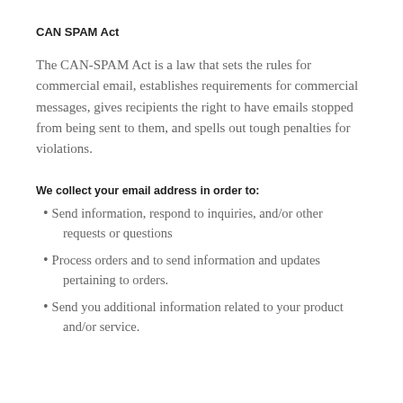CAN SPAM Act
The CAN-SPAM Act is a law that sets the rules for commercial email, establishes requirements for commercial messages, gives recipients the right to have emails stopped from being sent to them, and spells out tough penalties for violations.
We collect your email address in order to:
Send information, respond to inquiries, and/or other requests or questions
Process orders and to send information and updates pertaining to orders.
Send you additional information related to your product and/or service.